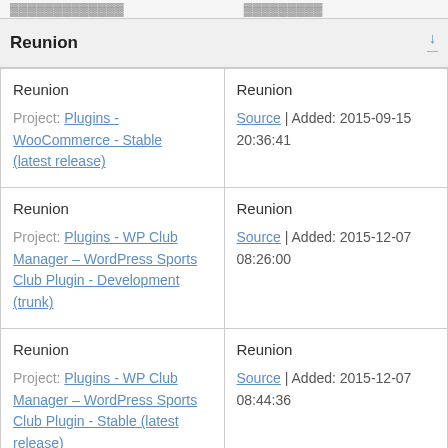Reunion
| Name/Project | Details |
| --- | --- |
| Reunion
Project: Plugins - WooCommerce - Stable (latest release) | Reunion
Source | Added: 2015-09-15 20:36:41 |
| Reunion
Project: Plugins - WP Club Manager – WordPress Sports Club Plugin - Development (trunk) | Reunion
Source | Added: 2015-12-07 08:26:00 |
| Reunion
Project: Plugins - WP Club Manager – WordPress Sports Club Plugin - Stable (latest release) | Reunion
Source | Added: 2015-12-07 08:44:36 |